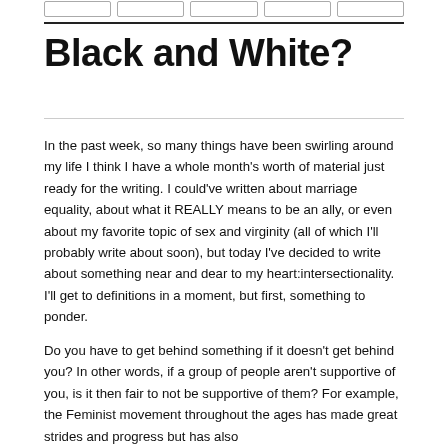[navigation tabs]
Black and White?
In the past week, so many things have been swirling around my life I think I have a whole month's worth of material just ready for the writing.  I could've written about marriage equality, about what it REALLY means to be an ally, or even about my favorite topic of sex and virginity (all of which I'll probably write about soon), but today I've decided to write about something near and dear to my heart:intersectionality.  I'll get to definitions in a moment, but first, something to ponder.
Do you have to get behind something if it doesn't get behind you? In other words, if a group of people aren't supportive of you, is it then fair to not be supportive of them? For example, the Feminist movement throughout the ages has made great strides and progress but has also